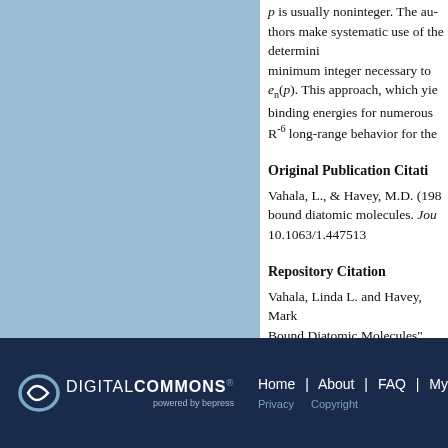p is usually noninteger. The authors make systematic use of the deterministic minimum integer necessary to compute e_n(p). This approach, which yields binding energies for numerous systems, R^-6 long-range behavior for the
Original Publication Citation
Vahala, L., & Havey, M.D. (198...) bound diatomic molecules. Journal... 10.1063/1.447513
Repository Citation
Vahala, Linda L. and Havey, Mark... Bound Diatomic Molecules" (1984... https://digitalcommons.odu.edu/e...
[Figure (logo): Digital Commons powered by bepress logo in white on dark navy background]
Home | About | FAQ | My... Privacy  Copyright